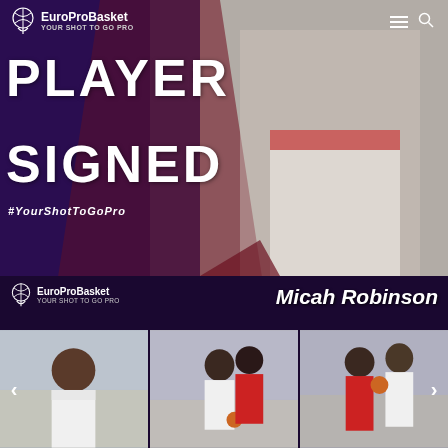[Figure (infographic): EuroProBasket Player Signed announcement banner for Micah Robinson. Dark purple/navy background with red/burgundy diagonal shape. Basketball player in white jersey number 8 on right side. Text reads PLAYER SIGNED #YourShotToGoPro. EuroProBasket logo top left and bottom left. Three action photos at bottom showing the player smiling, dribbling, and defending.]